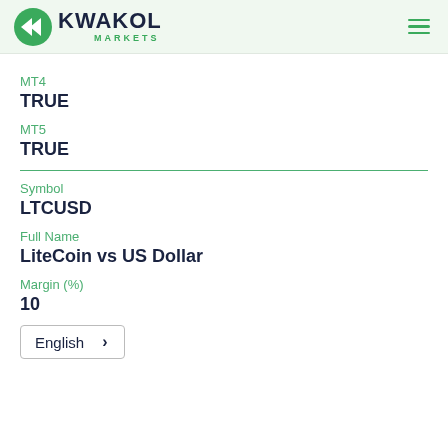KWAKOL MARKETS
MT4
TRUE
MT5
TRUE
Symbol
LTCUSD
Full Name
LiteCoin vs US Dollar
Margin (%)
10
English